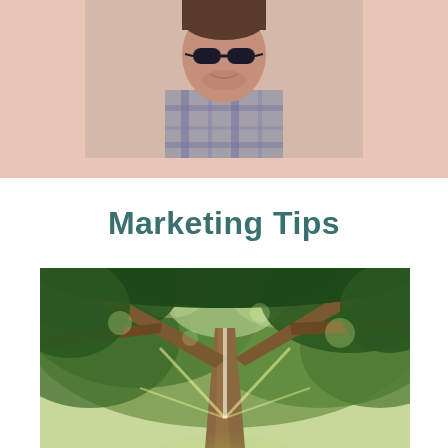[Figure (photo): A person wearing a plaid shirt and sunglasses, photographed from below against a light peach/blush background, cropped at the top of the page.]
Marketing Tips
[Figure (photo): An upward-looking photograph through a large tree canopy with sunlight breaking through the branches and green foliage.]